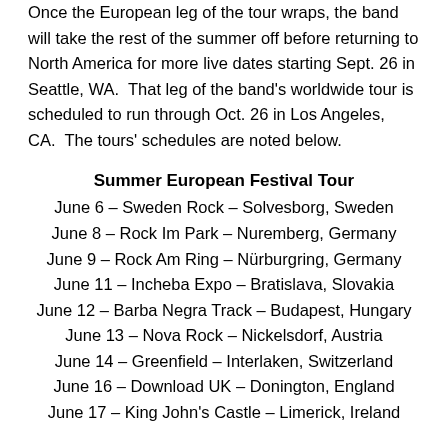Once the European leg of the tour wraps, the band will take the rest of the summer off before returning to North America for more live dates starting Sept. 26 in Seattle, WA.  That leg of the band's worldwide tour is scheduled to run through Oct. 26 in Los Angeles, CA.  The tours' schedules are noted below.
Summer European Festival Tour
June 6 – Sweden Rock – Solvesborg, Sweden
June 8 – Rock Im Park – Nuremberg, Germany
June 9 – Rock Am Ring – Nürburgring, Germany
June 11 – Incheba Expo – Bratislava, Slovakia
June 12 – Barba Negra Track – Budapest, Hungary
June 13 – Nova Rock – Nickelsdorf, Austria
June 14 – Greenfield – Interlaken, Switzerland
June 16 – Download UK – Donington, England
June 17 – King John's Castle – Limerick, Ireland